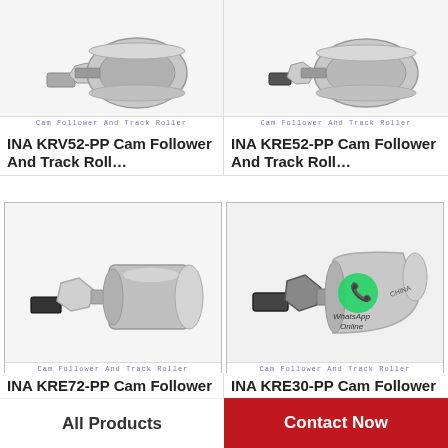[Figure (photo): INA KRV52-PP cam follower and track roller bearing - metallic cylindrical roller with threaded stud]
INA KRV52-PP Cam Follower And Track Roll…
[Figure (photo): INA KRE52-PP cam follower and track roller bearing]
INA KRE52-PP Cam Follower And Track Roll…
[Figure (photo): INA KRE72-PP cam follower and track roller bearing - metallic with hex nut]
INA KRE72-PP Cam Follower And Track Roll…
[Figure (photo): INA KRE30-PP cam follower and track roller bearing with WhatsApp Online overlay]
INA KRE30-PP Cam Follower And Track Roll…
All Products
Contact Now